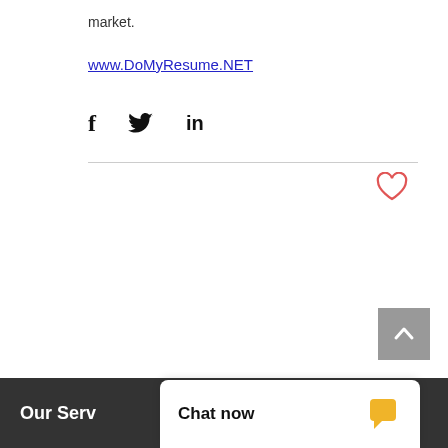market.
www.DoMyResume.NET
[Figure (other): Social share icons: Facebook (f), Twitter bird, LinkedIn (in)]
[Figure (other): Heart (like) icon in red/salmon outline]
[Figure (other): Scroll-to-top button: grey square with white upward chevron]
Our Serv
Chat now